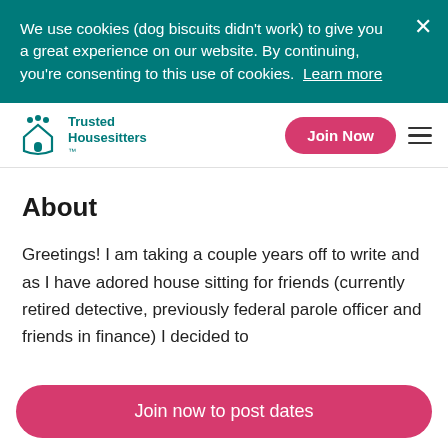We use cookies (dog biscuits didn't work) to give you a great experience on our website. By continuing, you're consenting to this use of cookies. Learn more
[Figure (logo): Trusted Housesitters logo with teal house and people icon, and teal text reading 'Trusted Housesitters']
Join Now
About
Greetings! I am taking a couple years off to write and as I have adored house sitting for friends (currently retired detective, previously federal parole officer and friends in finance) I decided to
Join now to post dates